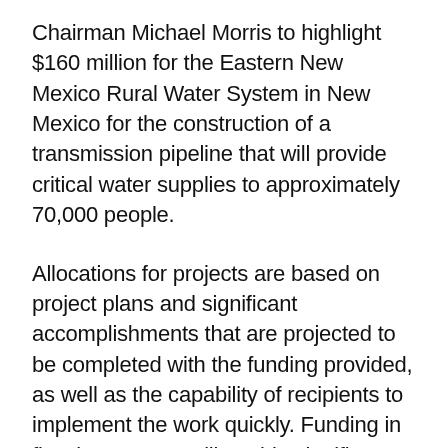Chairman Michael Morris to highlight $160 million for the Eastern New Mexico Rural Water System in New Mexico for the construction of a transmission pipeline that will provide critical water supplies to approximately 70,000 people.
Allocations for projects are based on project plans and significant accomplishments that are projected to be completed with the funding provided, as well as the capability of recipients to implement the work quickly. Funding in fiscal year 2022 will enable significant advances of rural water systems and associated features.
In addition to the New Mexico funding, the rural water allocations include: